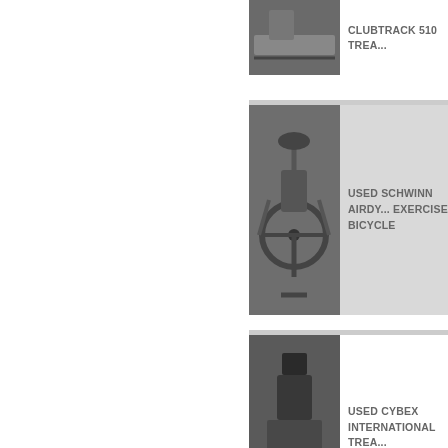[Figure (photo): Gym equipment - treadmill or elliptical, partial view at top]
CLUBTRACK 510 TREA...
[Figure (photo): Used Schwinn Airdyne exercise bicycle]
USED SCHWINN AIRDY... EXERCISE BICYCLE
[Figure (photo): Used Cybex International Treadmill]
USED CYBEX INTERNATIONAL TREA...
[Figure (photo): Used Cybex International Treadmill]
USED CYBEX INTERNATIONAL TREA...
[Figure (photo): Used Life Fitness 91x Elliptical Cross-Trainer]
USED LIFE FITNESS 91... ELLIPTICAL CROSS-TR...
[Figure (photo): Used Life Fitness 91Xi Elliptical Cross-Trainer - Just Reduced]
JUST REDUCED!!! USE... FITNESS 91Xi ELLIPTIC... CR... TRAINER